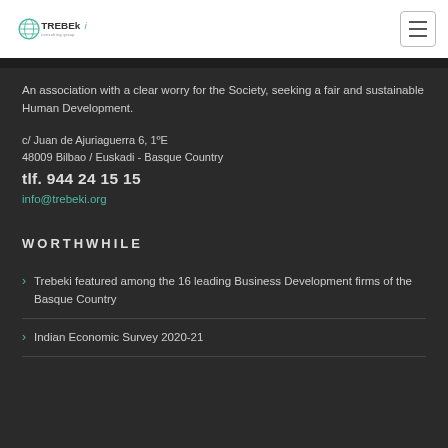TREBEki
An association with a clear worry for the Society, seeking a fair and sustainable Human Development.
c/ Juan de Ajuriaguerra 6, 1ºE
48009 Bilbao / Euskadi - Basque Country
tlf. 944 24 15 15
info@trebeki.org
WORTHWHILE
Trebeki featured among the 16 leading Business Development firms of the Basque Country
Indian Economic Survey 2020-21